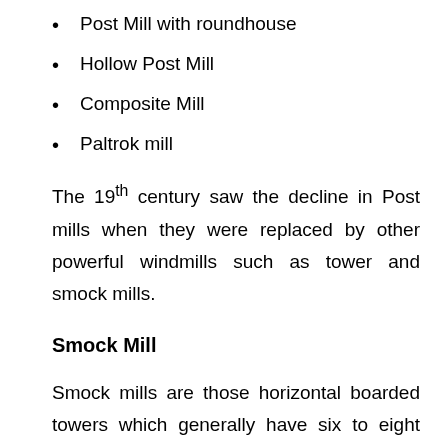Post Mill with roundhouse
Hollow Post Mill
Composite Mill
Paltrok mill
The 19th century saw the decline in Post mills when they were replaced by other powerful windmills such as tower and smock mills.
Smock Mill
Smock mills are those horizontal boarded towers which generally have six to eight sides. The name got originated from the shape of its body as it looks like a smock. This part of the mill is thatched and will be round shaped. The main feature of the